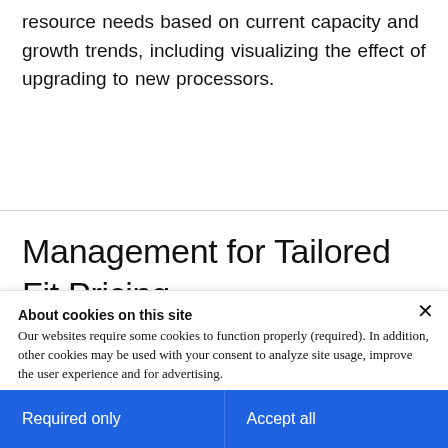resource needs based on current capacity and growth trends, including visualizing the effect of upgrading to new processors.
Management for Tailored Fit Pricing
About cookies on this site
Our websites require some cookies to function properly (required). In addition, other cookies may be used with your consent to analyze site usage, improve the user experience and for advertising.

For more information, please review your Cookie preferences options and IBM's privacy statement.
Required only
Accept all